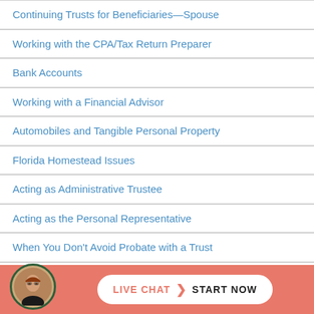Continuing Trusts for Beneficiaries—Spouse
Working with the CPA/Tax Return Preparer
Bank Accounts
Working with a Financial Advisor
Automobiles and Tangible Personal Property
Florida Homestead Issues
Acting as Administrative Trustee
Acting as the Personal Representative
When You Don't Avoid Probate with a Trust
What to Bring to the Attorney when a Loved One Passes
Open Discussions
[Figure (infographic): Live chat banner with avatar photo of woman with red hair and glasses, a pill-shaped white button reading LIVE CHAT > START NOW on coral/salmon background]